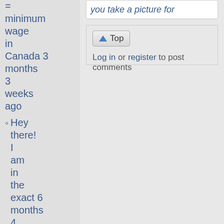= minimum wage in Canada 3 months 3 weeks ago
Hey there! I am in the exact 6 months 4 weeks
[Figure (screenshot): Top button and log in or register to post comments UI element]
Log in or register to post comments